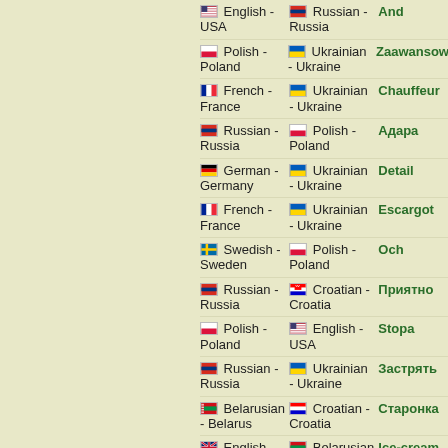English - USA | Russian - Russia | And
Polish - Poland | Ukrainian - Ukraine | Zaawansowa
French - France | Ukrainian - Ukraine | Chauffeur
Russian - Russia | Polish - Poland | Адара
German - Germany | Ukrainian - Ukraine | Detail
French - France | Ukrainian - Ukraine | Escargot
Swedish - Sweden | Polish - Poland | Och
Russian - Russia | Croatian - Croatia | Приятно
Polish - Poland | English - USA | Stopa
Russian - Russia | Ukrainian - Ukraine | Застрять
Belarusian - Belarus | Croatian - Croatia | Старонка
English - United | Belarusian - Belarus | Ice-cream